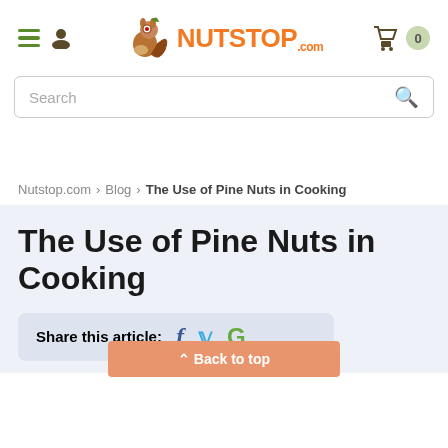[Figure (logo): Nutstop.com logo with squirrel mascot and orange NUTSTOP.com text]
Search
Nutstop.com > Blog > The Use of Pine Nuts in Cooking
The Use of Pine Nuts in Cooking
Share this article: